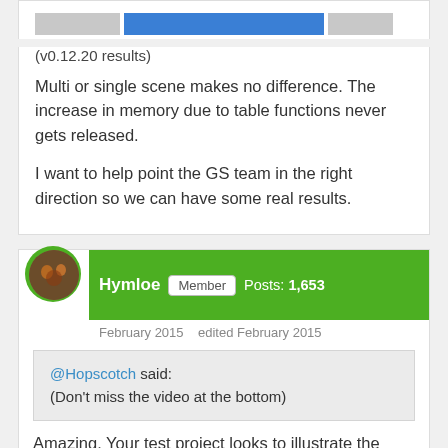[Figure (other): Partial bar chart showing gray and blue horizontal bars]
(v0.12.20 results)
Multi or single scene makes no difference. The increase in memory due to table functions never gets released.
I want to help point the GS team in the right direction so we can have some real results.
Hymloe  Member  Posts: 1,653
February 2015    edited February 2015
@Hopscotch said:
(Don't miss the video at the bottom)
Amazing. Your test project looks to illustrate the issues with tables perfectly.